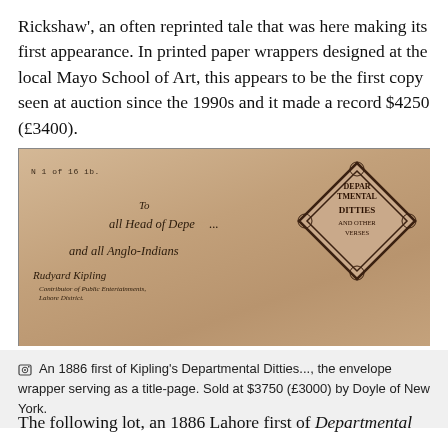Rickshaw', an often reprinted tale that was here making its first appearance. In printed paper wrappers designed at the local Mayo School of Art, this appears to be the first copy seen at auction since the 1990s and it made a record $4250 (£3400).
[Figure (photo): Photograph of an 1886 envelope wrapper for Kipling's Departmental Ditties, showing handwritten text 'To all Head of Depe[artments] and all Anglo-Indians' with Rudyard Kipling's signature, and a decorative diamond-shaped stamp reading 'Departmental Ditties and Other Verses']
An 1886 first of Kipling's Departmental Ditties..., the envelope wrapper serving as a title-page. Sold at $3750 (£3000) by Doyle of New York.
The following lot, an 1886 Lahore first of Departmental